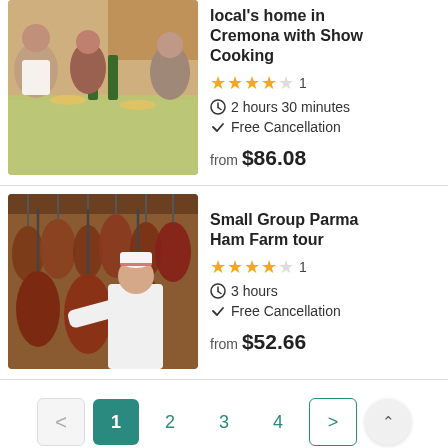[Figure (photo): Photo of women in aprons at a table with green bottles and yellow plates in a cooking class setting]
local's home in Cremona with Show Cooking
★★★★☆ 1 | ⏱ 2 hours 30 minutes | ✓ Free Cancellation | from $86.08
[Figure (photo): Photo of a man in white chef uniform and hat handling hanging Parma hams in a curing facility]
Small Group Parma Ham Farm tour
★★★★☆ 1 | ⏱ 3 hours | ✓ Free Cancellation | from $52.66
Pagination: < 1 2 3 4 > ^